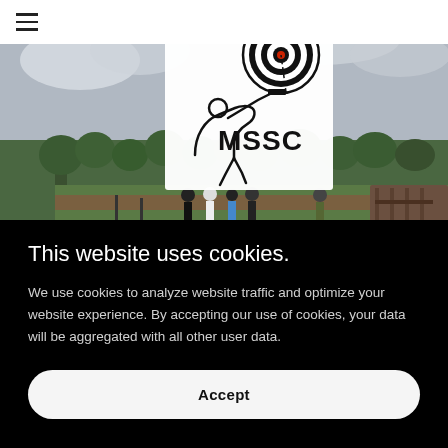≡ [navigation menu icon]
[Figure (screenshot): MSSC logo with a shooter silhouette aiming at a bullseye target, with text 'MSSC' below. Background shows a shooting range with several people standing near targets, grass field and trees under a cloudy sky.]
This website uses cookies.
We use cookies to analyze website traffic and optimize your website experience. By accepting our use of cookies, your data will be aggregated with all other user data.
Accept